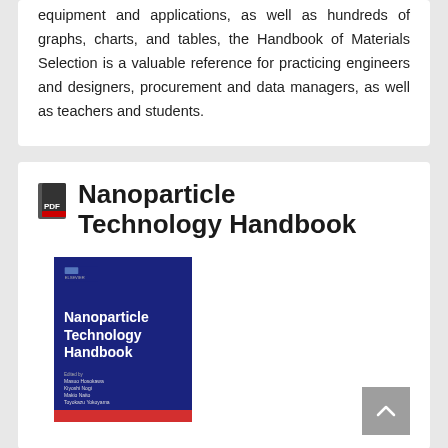equipment and applications, as well as hundreds of graphs, charts, and tables, the Handbook of Materials Selection is a valuable reference for practicing engineers and designers, procurement and data managers, as well as teachers and students.
Nanoparticle Technology Handbook
[Figure (photo): Book cover of Nanoparticle Technology Handbook — dark blue cover with white bold title text, small publisher logo at top, red bar at bottom, and small author names listed near the bottom.]